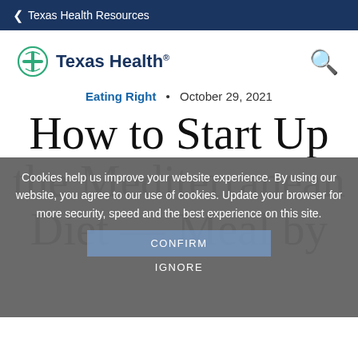Texas Health Resources
[Figure (logo): Texas Health logo — circular globe icon with cross/grid pattern in teal/green, followed by bold 'Texas Health' in dark navy blue text with registered trademark symbol]
Eating Right • October 29, 2021
How to Start Up the Mediterranean Diet — Meal by Meal
Cookies help us improve your website experience. By using our website, you agree to our use of cookies. Update your browser for more security, speed and the best experience on this site.
CONFIRM
IGNORE